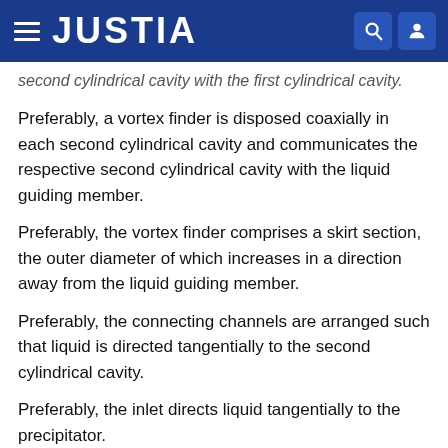JUSTIA
second cylindrical cavity with the first cylindrical cavity.
Preferably, a vortex finder is disposed coaxially in each second cylindrical cavity and communicates the respective second cylindrical cavity with the liquid guiding member.
Preferably, the vortex finder comprises a skirt section, the outer diameter of which increases in a direction away from the liquid guiding member.
Preferably, the connecting channels are arranged such that liquid is directed tangentially to the second cylindrical cavity.
Preferably, the inlet directs liquid tangentially to the precipitator.
Preferably, the liquid guiding member includes a